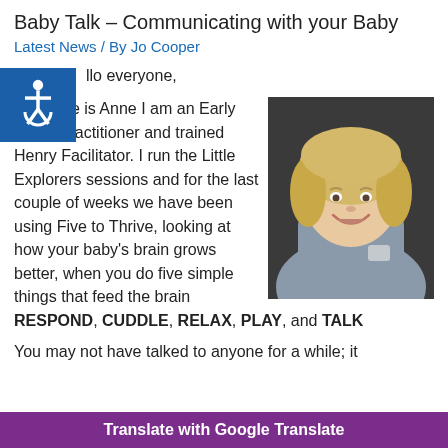Baby Talk – Communicating with your Baby
Latest News / By Jo Cooper
llo everyone,
[Figure (photo): Portrait photo of a smiling blonde woman wearing a grey jacket, seated indoors]
My name is Anne I am an Early Years Practitioner and trained Henry Facilitator. I run the Little Explorers sessions and for the last couple of weeks we have been using Five to Thrive, looking at how your baby's brain grows better, when you do five simple things that feed the brain RESPOND, CUDDLE, RELAX, PLAY, and TALK
You may not have talked to anyone for a while; it
Translate with Google Translate